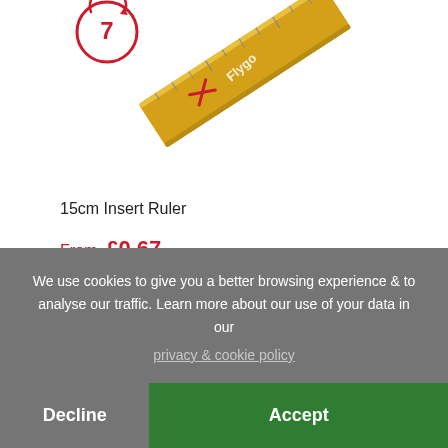[Figure (photo): Product image of a 15cm Insert Ruler (yellow/gold ruler with red airplane graphic and 'Flygo' branding), shown at an angle with a circular '7' rating badge in top-left]
15cm Insert Ruler
From £0.67
Looking for something different? Browse our other desk essentials, including rulers, calculators, office essentials, mobile phone holders, pen pots & paper clips, and clocks & watches.
We use cookies to give you a better browsing experience & to analyse our traffic. Learn more about our use of your data in our
privacy & cookie policy
Decline
Accept